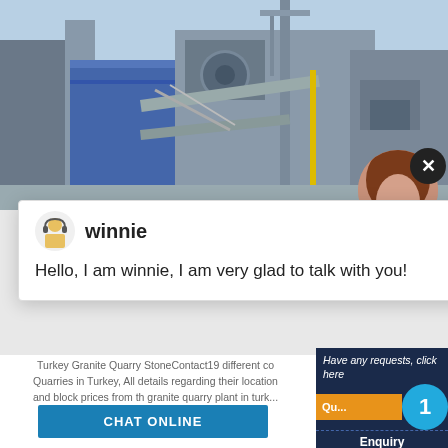[Figure (photo): Industrial quarry plant machinery and equipment against blue sky background]
[Figure (photo): Close-up of woman with brown hair, person thumbnail]
winnie
Hello, I am winnie, I am very glad to talk with you!
Turkey Granite Quarry StoneContact19 different co... Quarries in Turkey, All details regarding their location... and block prices from th granite quarry plant in turk... mirpur-12, pallbi.
CHAT ONLINE
Have any requests, click here
1
Enquiry
limingjlmofen@sina.com